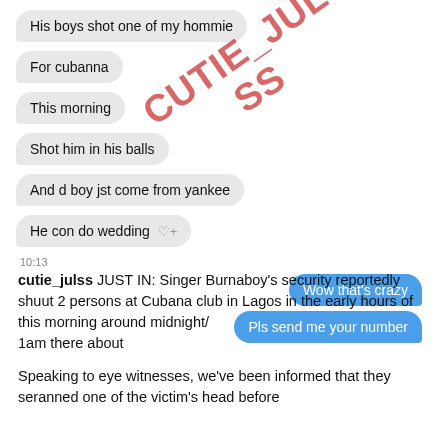[Figure (screenshot): Screenshot of a chat conversation showing received messages: 'His boys shot one of my hommie', 'For cubanna', 'This morning', 'Shot him in his balls', 'And d boy jst come from yankee', 'He con do wedding' with a heart icon and timestamp 10:13. Sent messages: 'Wow that's crazy', 'Pls send me your number'. A red watermark reads 'CUTIE_JULSS' diagonally across the chat.]
cutie_julss JUST IN: Singer Burnaboy's security reportedly shuut 2 persons at Cubana club in Lagos in the early hours of this morning around midnight/1am there about
Speaking to eye witnesses, we've been informed that they seranned one of the victim's head before